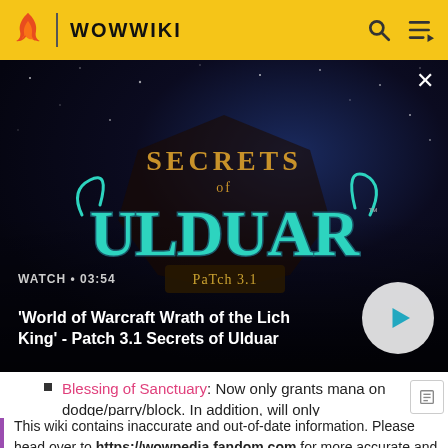WOWWIKI
[Figure (screenshot): Video thumbnail for 'World of Warcraft Wrath of the Lich King' - Patch 3.1 Secrets of Ulduar. Shows stylized game logo with teal/blue 'ULDUAR' text and 'Secrets of' above on a dark cosmic background. Duration shown as 03:54. Play button visible.]
Blessing of Sanctuary: Now only grants mana on dodge/parry/block. In addition, will only
This wiki contains inaccurate and out-of-date information. Please head over to https://wowpedia.fandom.com for more accurate and up-to-date game information.